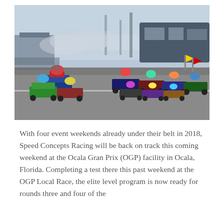[Figure (photo): A large group of go-kart racers lined up on a track at the start of a race, with smoke visible in the background. The karts are colorful and the setting appears to be an outdoor racing facility on a sunny day.]
With four event weekends already under their belt in 2018, Speed Concepts Racing will be back on track this coming weekend at the Ocala Gran Prix (OGP) facility in Ocala, Florida. Completing a test there this past weekend at the OGP Local Race, the elite level program is now ready for rounds three and four of the